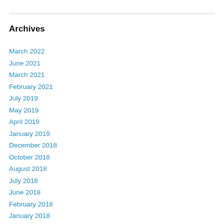Archives
March 2022
June 2021
March 2021
February 2021
July 2019
May 2019
April 2019
January 2019
December 2018
October 2018
August 2018
July 2018
June 2018
February 2018
January 2018
October 2017